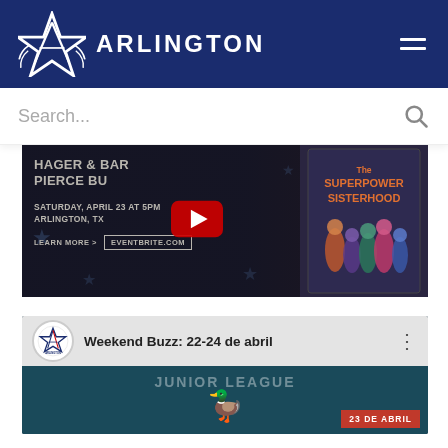ARLINGTON
Search...
[Figure (screenshot): Video thumbnail for event: HAGER & BAR... PIERCE BU... SATURDAY, APRIL 23 AT 5PM ARLINGTON, TX LEARN MORE > EVENTBRITE.COM, with YouTube play button overlay and The Superpower Sisterhood book cover on right]
[Figure (screenshot): YouTube video thumbnail with Arlington logo, title 'Weekend Buzz: 22-24 de abril', three-dot menu, and below showing JUNIOR LEAGUE text with duck image and 23 DE ABRIL red badge]